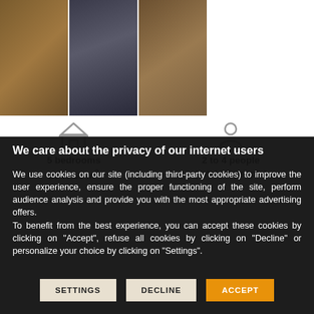[Figure (photo): Three side-by-side photos of a vacation property interior showing wood and dark tones]
5 bedrooms
20 to 55 m²
2 to 4 people
(total 15 people)
We care about the privacy of our internet users
We use cookies on our site (including third-party cookies) to improve the user experience, ensure the proper functioning of the site, perform audience analysis and provide you with the most appropriate advertising offers.
To benefit from the best experience, you can accept these cookies by clicking on "Accept", refuse all cookies by clicking on "Decline" or personalize your choice by clicking on "Settings".
SETTINGS
DECLINE
ACCEPT